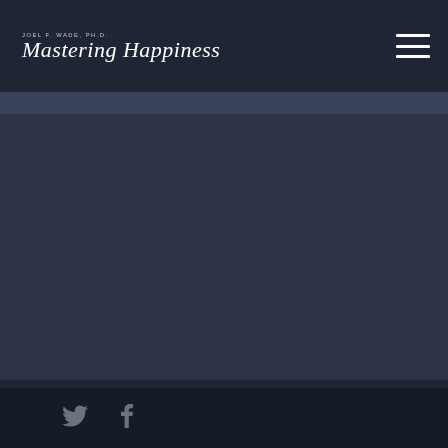JOEL F. WADE, PH.D. Mastering Happiness
© 2022 Mastering Happiness. All Rights Reserved.
[Figure (logo): Twitter and Facebook social media icons at the bottom left]